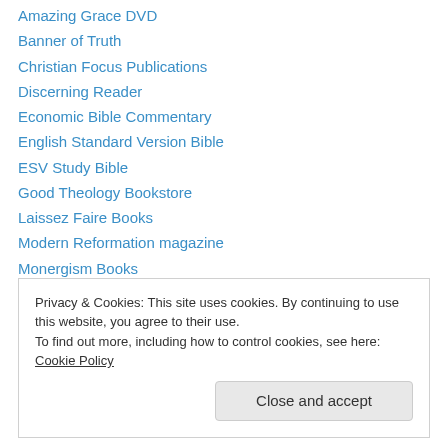Amazing Grace DVD
Banner of Truth
Christian Focus Publications
Discerning Reader
Economic Bible Commentary
English Standard Version Bible
ESV Study Bible
Good Theology Bookstore
Laissez Faire Books
Modern Reformation magazine
Monergism Books
Reformation 21 magazine
Reformation Heritage Books
Privacy & Cookies: This site uses cookies. By continuing to use this website, you agree to their use. To find out more, including how to control cookies, see here: Cookie Policy
Close and accept